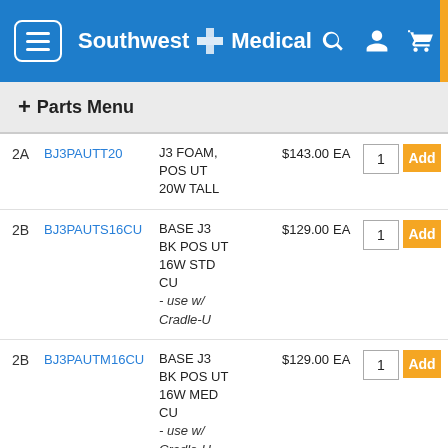Southwest Medical
+ Parts Menu
| # | SKU | Description | Price | Unit | Qty | Action |
| --- | --- | --- | --- | --- | --- | --- |
| 2A | BJ3PAUTT20 | J3 FOAM, POS UT 20W TALL | $143.00 | EA | 1 | Add |
| 2B | BJ3PAUTS16CU | BASE J3 BK POS UT 16W STD CU - use w/ Cradle-U | $129.00 | EA | 1 | Add |
| 2B | BJ3PAUTM16CU | BASE J3 BK POS UT 16W MED CU - use w/ Cradle-U | $129.00 | EA | 1 | Add |